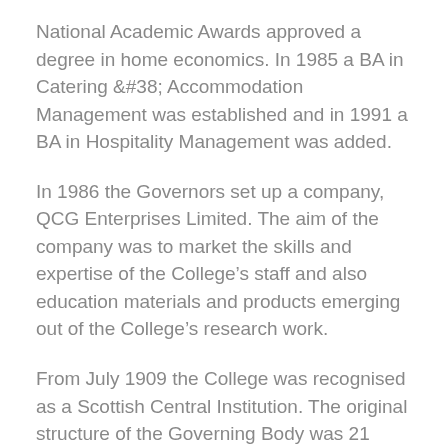National Academic Awards approved a degree in home economics. In 1985 a BA in Catering &#38; Accommodation Management was established and in 1991 a BA in Hospitality Management was added.
In 1986 the Governors set up a company, QCG Enterprises Limited. The aim of the company was to market the skills and expertise of the College’s staff and also education materials and products emerging out of the College’s research work.
From July 1909 the College was recognised as a Scottish Central Institution. The original structure of the Governing Body was 21 Governors, elected from the Association, and 6 Governors elected from various leading bodies in Glasgow and the surroundings districts. This membership changed through time. The